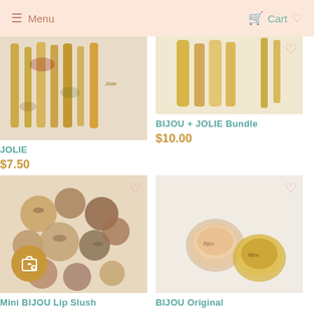Menu  Cart
[Figure (photo): JOLIE lip gloss tubes with botanical elements on white background]
JOLIE
$7.50
[Figure (photo): BIJOU + JOLIE Bundle gold cosmetic tubes]
BIJOU + JOLIE Bundle
$10.00
[Figure (photo): Mini BIJOU Lip Slush collection of small round pots with botanical lip products]
Mini BIJOU Lip Slush
[Figure (photo): BIJOU Original lip balm pots, one open showing peachy balm, one with gold lid]